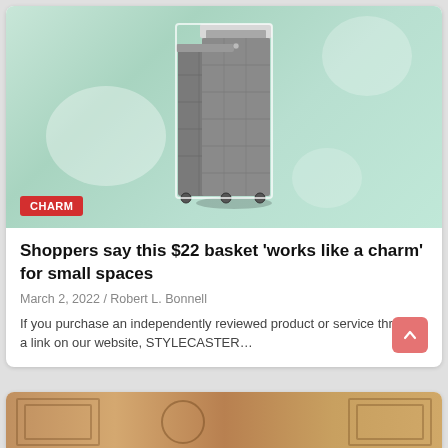[Figure (photo): Gray fabric laundry hamper/basket on wheels with removable liner, displayed against a light mint green watercolor background with white bokeh circles. A red badge reading 'CHARM' is overlaid in the bottom-left corner of the image.]
Shoppers say this $22 basket 'works like a charm' for small spaces
March 2, 2022 / Robert L. Bonnell
If you purchase an independently reviewed product or service through a link on our website, STYLECASTER…
[Figure (photo): Partial view of ornate wooden cabinet or furniture piece with decorative carved panels, visible at bottom of page.]